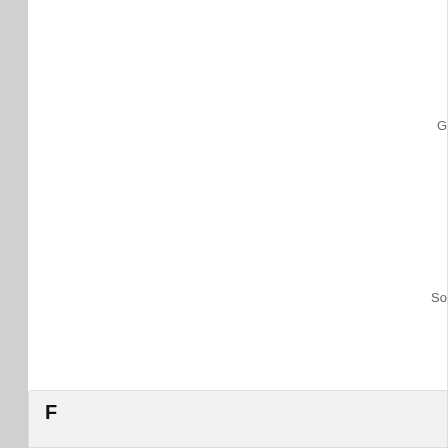Subscribe to RSS Feed
Follow us on Twitter
Like us on Facebook
Seen this? What did you think? Add your co…
You must be logged in to post a comment.